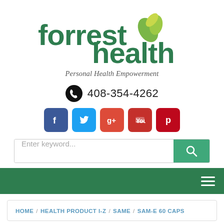[Figure (logo): Forrest Health logo with green leaf icon and tagline 'Personal Health Empowerment']
408-354-4262
[Figure (infographic): Social media icons row: Facebook, Twitter, Google+, YouTube, Pinterest]
Enter keyword...
SAM-e 60 CAPS breadcrumb: HOME / HEALTH PRODUCT I-Z / SAME / SAM-E 60 CAPS
SAM-e 60 caps